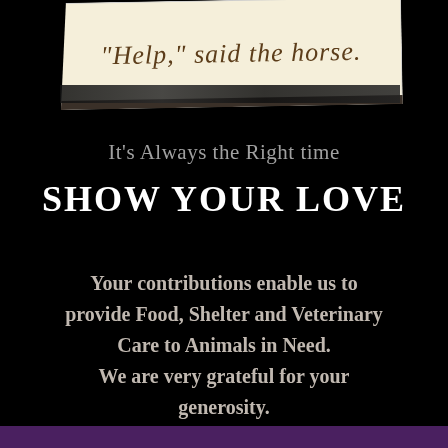[Figure (illustration): A torn/aged book cover on black background with handwritten-style text reading: "Help," said the horse.]
It's Always the Right time
SHOW YOUR LOVE
Your contributions enable us to provide Food, Shelter and Veterinary Care to Animals in Need. We are very grateful for your generosity.